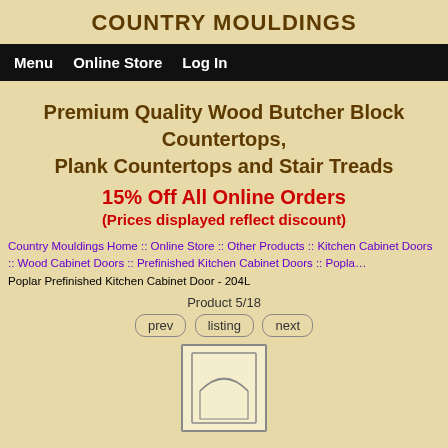COUNTRY MOULDINGS
Menu  Online Store  Log In
Premium Quality Wood Butcher Block Countertops,
Plank Countertops and Stair Treads
15% Off All Online Orders
(Prices displayed reflect discount)
Country Mouldings Home :: Online Store :: Other Products :: Kitchen Cabinet Doors :: Wood Cabinet Doors :: Prefinished Kitchen Cabinet Doors :: Poplar
Poplar Prefinished Kitchen Cabinet Door - 204L
Product 5/18
prev  listing  next
[Figure (illustration): Line drawing of a cabinet door with arched top panel (Poplar Prefinished Kitchen Cabinet Door 204L)]